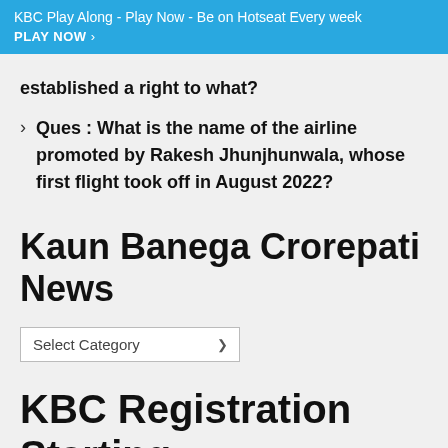KBC Play Along - Play Now - Be on Hotseat Every week
PLAY NOW ›
established a right to what?
Ques : What is the name of the airline promoted by Rakesh Jhunjhunwala, whose first flight took off in August 2022?
Kaun Banega Crorepati News
Select Category
KBC Registration Starting